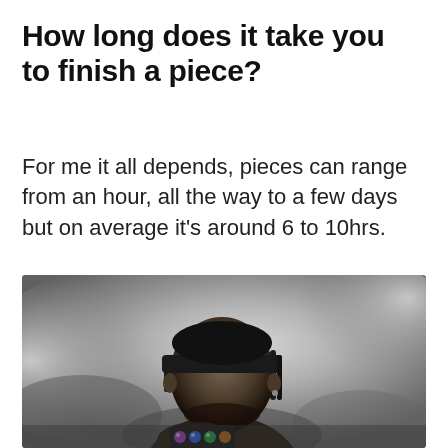How long does it take you to finish a piece?
For me it all depends, pieces can range from an hour, all the way to a few days but on average it’s around 6 to 10hrs.
[Figure (illustration): A grayscale digital illustration of a person wearing a cap with the brim covering their eyes, holding a gauntlet with colorful gems (purple, blue, green), surrounded by smoke/clouds. Fantasy/superhero art style.]